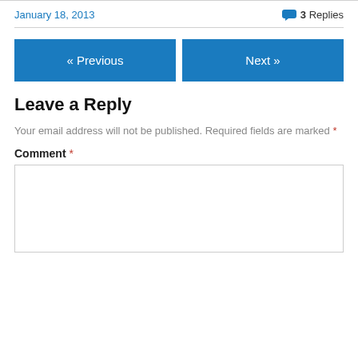January 18, 2013
3 Replies
« Previous
Next »
Leave a Reply
Your email address will not be published. Required fields are marked *
Comment *